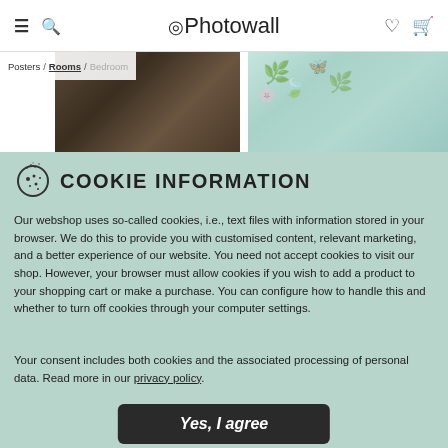Photowall — hamburger, search, heart, cart icons
Posters / Rooms / Bedroom
[Figure (screenshot): Two partially visible product images: left showing a dark landscape painting, right showing a light floral/botanical wallpaper pattern]
COOKIE INFORMATION
Our webshop uses so-called cookies, i.e., text files with information stored in your browser. We do this to provide you with customised content, relevant marketing, and a better experience of our website. You need not accept cookies to visit our shop. However, your browser must allow cookies if you wish to add a product to your shopping cart or make a purchase. You can configure how to handle this and whether to turn off cookies through your computer settings.
Your consent includes both cookies and the associated processing of personal data. Read more in our privacy policy.
Yes, I agree